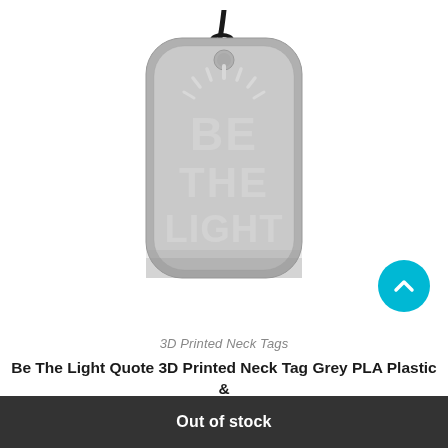[Figure (photo): A 3D printed grey plastic dog tag pendant with 'Be The Light' text embossed and sun rays at top, hanging from a black synthetic cord, on white background.]
3D Printed Neck Tags
Be The Light Quote 3D Printed Neck Tag Grey PLA Plastic & Black Synthetic Cord
Out of stock